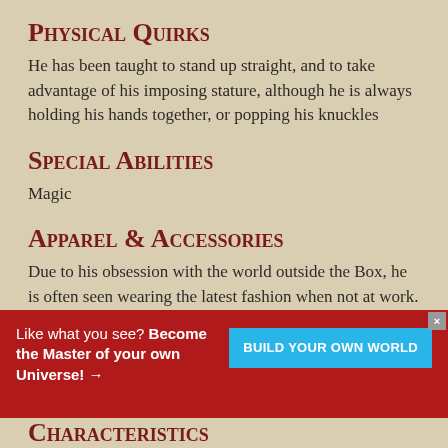Physical Quirks
He has been taught to stand up straight, and to take advantage of his imposing stature, although he is always holding his hands together, or popping his knuckles
Special Abilities
Magic
Apparel & Accessories
Due to his obsession with the world outside the Box, he is often seen wearing the latest fashion when not at work. During working hours he wears a trench coat
Like what you see? Become the Master of your own Universe! → | BUILD YOUR OWN WORLD
Characteristics